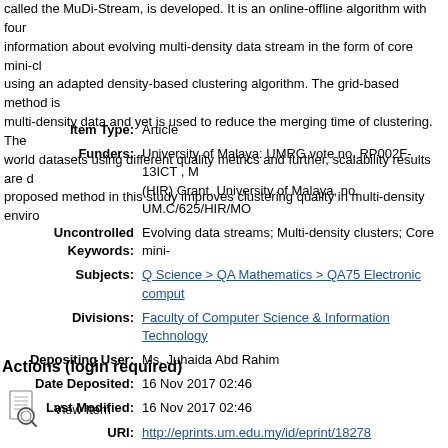called the MuDi-Stream, is developed. It is an online-offline algorithm with four information about evolving multi-density data stream in the form of core mini-cl using an adapted density-based clustering algorithm. The grid-based method is multi-density data and yet is used to reduce the merging time of clustering. The world datasets using different quality metrics and further, scalability results are proposed method in this study improves clustering quality in multi-density enviro
| Item Type: | Article |
| Funders: | University of Malaya: UMRG vote no. RP002F-13ICT , M (HIR) Grant, University of Malaya, no. UM.C/625/HIR/MO |
| Uncontrolled Keywords: | Evolving data streams; Multi-density clusters; Core mini- |
| Subjects: | Q Science > QA Mathematics > QA75 Electronic comput |
| Divisions: | Faculty of Computer Science & Information Technology |
| Depositing User: | Ms. Juhaida Abd Rahim |
| Date Deposited: | 16 Nov 2017 02:46 |
| Last Modified: | 16 Nov 2017 02:46 |
| URI: | http://eprints.um.edu.my/id/eprint/18278 |
Actions (login required)
View Item